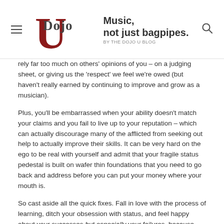Dojo U — Music, not just bagpipes.
rely far too much on others' opinions of you – on a judging sheet, or giving us the 'respect' we feel we're owed (but haven't really earned by continuing to improve and grow as a musician).
Plus, you'll be embarrassed when your ability doesn't match your claims and you fail to live up to your reputation – which can actually discourage many of the afflicted from seeking out help to actually improve their skills. It can be very hard on the ego to be real with yourself and admit that your fragile status pedestal is built on wafer thin foundations that you need to go back and address before you can put your money where your mouth is.
So cast aside all the quick fixes. Fall in love with the process of learning, ditch your obsession with status, and feel happy about your successes but especially your failures, because they offer the most opportunity for growth.
You'll soon find that status will be a natural byproduct of focusing